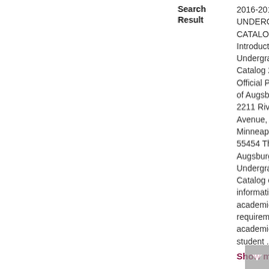| Field | Value |
| --- | --- |
| Search Result | 2016-2017 UNDERGRADUATE CATALOG Introduction Undergraduate Catalog 2016-2017 Official Publication of Augsburg College 2211 Riverside Avenue, Minneapolis, MN 55454 The Augsburg College Undergraduate Catalog contains information about academic program requirements and academic and student ... Show more |
[Figure (photo): Thumbnail image of the Augsburg College Undergraduate Catalog 2015-2016 cover, showing students sitting under a tree on campus.]
| Field | Value |
| --- | --- |
| Title | Augsburg College Undergraduate Catalog, 2015-2016 |
| Collection | Course Catalogs |
| Search Result | 2015-2016 UNDERGRADUATE CATALOG Augsburg College Undergraduate Catalog 2015-2016 Official Publication of Augsburg College ... |